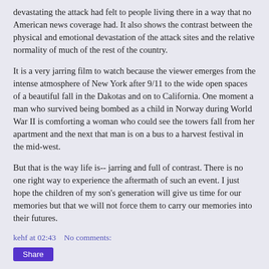devastating the attack had felt to people living there in a way that no American news coverage had. It also shows the contrast between the physical and emotional devastation of the attack sites and the relative normality of much of the rest of the country.
It is a very jarring film to watch because the viewer emerges from the intense atmosphere of New York after 9/11 to the wide open spaces of a beautiful fall in the Dakotas and on to California. One moment a man who survived being bombed as a child in Norway during World War II is comforting a woman who could see the towers fall from her apartment and the next that man is on a bus to a harvest festival in the mid-west.
But that is the way life is-- jarring and full of contrast. There is no one right way to experience the aftermath of such an event. I just hope the children of my son's generation will give us time for our memories but that we will not force them to carry our memories into their futures.
kehf at 02:43    No comments:
Share